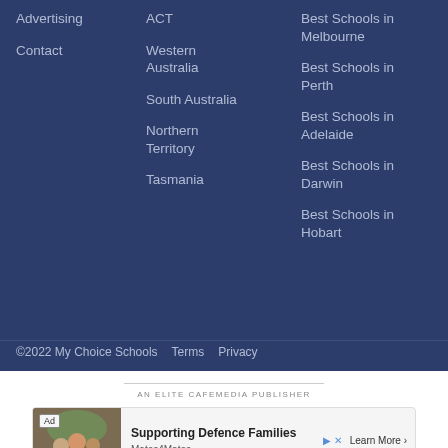Advertising
Contact
ACT
Western Australia
South Australia
Northern Territory
Tasmania
Best Schools in Melbourne
Best Schools in Perth
Best Schools in Adelaide
Best Schools in Darwin
Best Schools in Hobart
©2022 My Choice Schools   Terms   Privacy
AN ELITE CAFEMEDIA PUBLISHER
[Figure (other): Advertisement banner for Mates4Mates: Supporting Defence Families — Learn More]